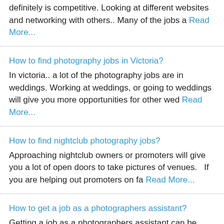definitely is competitive. Looking at different websites and networking with others.. Many of the jobs a Read More...
How to find photography jobs in Victoria?
In victoria.. a lot of the photography jobs are in weddings. Working at weddings, or going to weddings will give you more opportunities for other wed Read More...
How to find nightclub photography jobs?
Approaching nightclub owners or promoters will give you a lot of open doors to take pictures of venues.   If you are helping out promoters on fa Read More...
How to get a job as a photographers assistant?
Getting a job as a photographers assistant can be